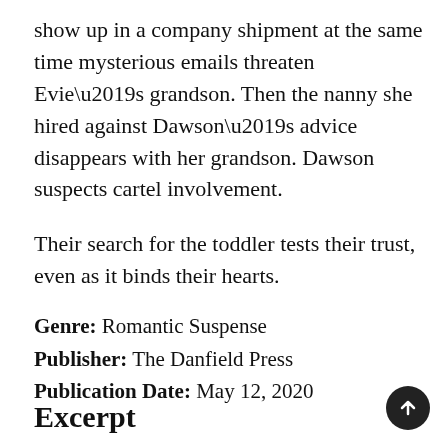show up in a company shipment at the same time mysterious emails threaten Evie’s grandson. Then the nanny she hired against Dawson’s advice disappears with her grandson. Dawson suspects cartel involvement.
Their search for the toddler tests their trust, even as it binds their hearts.
Genre: Romantic Suspense
Publisher: The Danfield Press
Publication Date: May 12, 2020
Excerpt